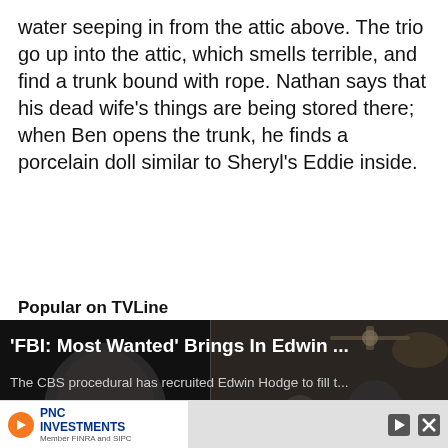water seeping in from the attic above. The trio go up into the attic, which smells terrible, and find a trunk bound with rope. Nathan says that his dead wife's things are being stored there; when Ben opens the trunk, he finds a porcelain doll similar to Sheryl's Eddie inside.
Popular on TVLine
[Figure (screenshot): A video thumbnail showing two panels: left panel has a man's face/portrait against dark background, right panel shows two people in a dark scene. Overlay text reads ''FBI: Most Wanted' Brings In Edwin ...' and 'The CBS procedural has recruited Edwin Hodge to fill t...' with a play button in the center. TVLine logo in bottom left and X close button in bottom right.]
[Figure (screenshot): Advertisement bar with PNC Investments logo on the left (orange circle with play icon, PNC Investments text) and a grey area on the right with play and close/X icons.]